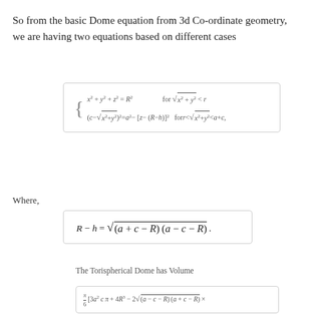So from the basic Dome equation from 3d Co-ordinate geometry, we are having two equations based on different cases
Where,
The Torispherical Dome has Volume